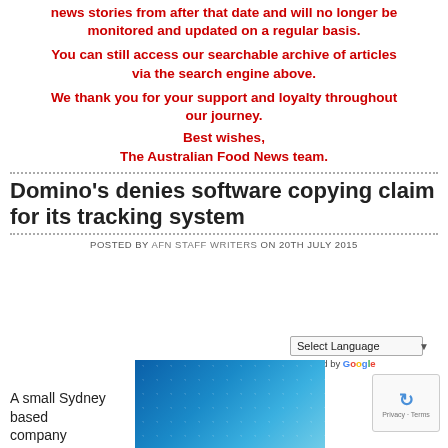news stories from after that date and will no longer be monitored and updated on a regular basis.
You can still access our searchable archive of articles via the search engine above.
We thank you for your support and loyalty throughout our journey.
Best wishes,
The Australian Food News team.
Domino's denies software copying claim for its tracking system
POSTED BY AFN STAFF WRITERS ON 20TH JULY 2015
[Figure (screenshot): Google Translate language selector widget with 'Select Language' dropdown and 'Powered by Google' label]
[Figure (screenshot): reCAPTCHA badge with circular arrow icon and 'Privacy - Terms' text]
A small Sydney based company